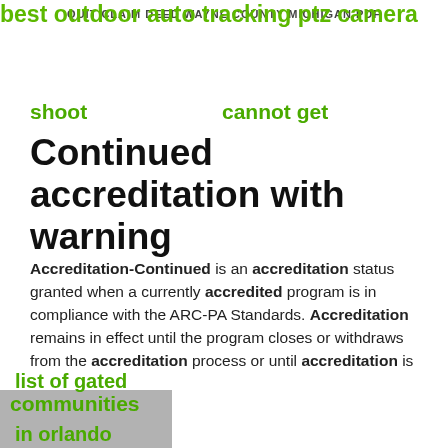QUIT CLAIM DEED WAYNE COUNTY MICHIGAN PDF
best outdoor auto tracking ptz camera
shoot
cannot get
Continued accreditation with warning
Accreditation-Continued is an accreditation status granted when a currently accredited program is in compliance with the ARC-PA Standards. Accreditation remains in effect until the program closes or withdraws from the accreditation process or until accreditation is
list of gated
communities
in orlando